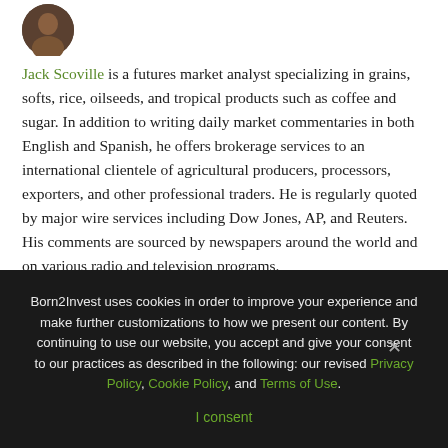[Figure (photo): Circular avatar photo of Jack Scoville]
Jack Scoville is a futures market analyst specializing in grains, softs, rice, oilseeds, and tropical products such as coffee and sugar. In addition to writing daily market commentaries in both English and Spanish, he offers brokerage services to an international clientele of agricultural producers, processors, exporters, and other professional traders. He is regularly quoted by major wire services including Dow Jones, AP, and Reuters. His comments are sourced by newspapers around the world and on various radio and television programs.
Born2Invest uses cookies in order to improve your experience and make further customizations to how we present our content. By continuing to use our website, you accept and give your consent to our practices as described in the following: our revised Privacy Policy, Cookie Policy, and Terms of Use.
I consent